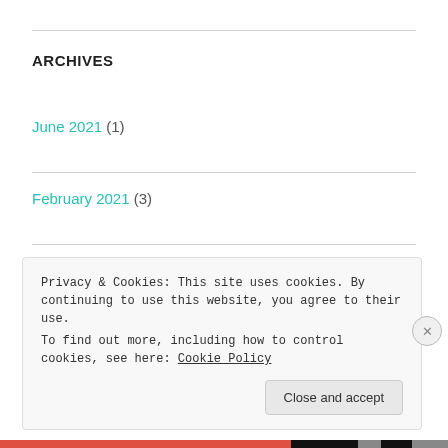ARCHIVES
June 2021 (1)
February 2021 (3)
July 2020 (2)
August 2018 (2)
Privacy & Cookies: This site uses cookies. By continuing to use this website, you agree to their use.
To find out more, including how to control cookies, see here: Cookie Policy